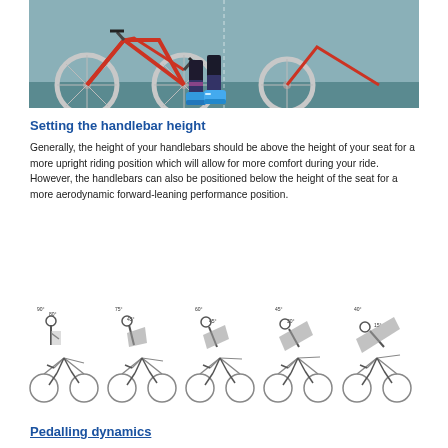[Figure (photo): A photo of a red road bicycle with a rider's legs visible, wearing blue cycling shoes and patterned socks. A second bicycle is partially visible on the right side.]
Setting the handlebar height
Generally, the height of your handlebars should be above the height of your seat for a more upright riding position which will allow for more comfort during your ride. However, the handlebars can also be positioned below the height of the seat for a more aerodynamic forward-leaning performance position.
[Figure (illustration): Five side-view line-drawing illustrations of cyclists on road bikes, showing progressively more forward-leaning positions. Each figure is annotated with angles: first figure shows 90° and 80°, second shows 75° and 45°, third shows 60° and 45°, fourth shows 45° and 30°, fifth shows 40° and 15°.]
Pedalling dynamics